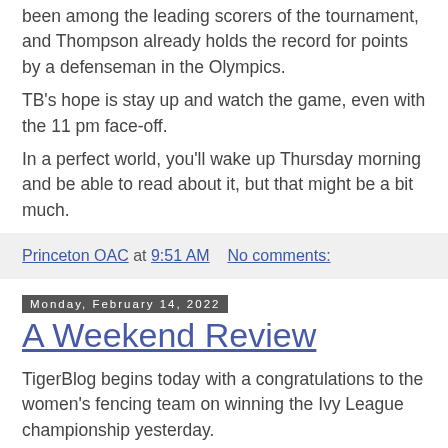been among the leading scorers of the tournament, and Thompson already holds the record for points by a defenseman in the Olympics.
TB's hope is stay up and watch the game, even with the 11 pm face-off.
In a perfect world, you'll wake up Thursday morning and be able to read about it, but that might be a bit much.
Princeton OAC at 9:51 AM   No comments:
Monday, February 14, 2022
A Weekend Review
TigerBlog begins today with a congratulations to the women's fencing team on winning the Ivy League championship yesterday.
The Ivy League fencing championships are held in the form of a round-robin with each team in the league at the same site over two days (this year's host was Brown). The Princeton women came